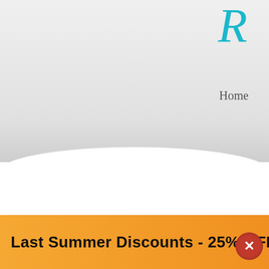[Figure (screenshot): Partial pharmacy website screenshot showing navigation with Home and News links, a logo (R...) in teal cursive at top right, product pricing showing 40.50 USD current and 54.00 USD crossed out, partial product name starting with Kam, and drug detail labels including Drug C., Brand, Routes, Pharm, Dosag, Manuf, Quanti, Purcha, and Amount fields]
Home
News
40.50 USD
54.00 USD
Kam
Drug C.
Brand
Routes
Pharm
Dosag
Manuf
Quanti
Purcha
Amou
Last Summer Discounts - 25% OFF